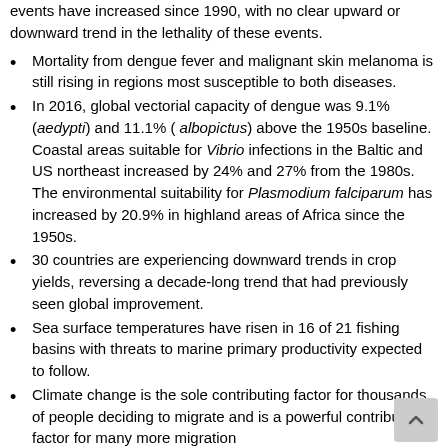events have increased since 1990, with no clear upward or downward trend in the lethality of these events.
Mortality from dengue fever and malignant skin melanoma is still rising in regions most susceptible to both diseases.
In 2016, global vectorial capacity of dengue was 9.1% (aedypti) and 11.1% ( albopictus) above the 1950s baseline. Coastal areas suitable for Vibrio infections in the Baltic and US northeast increased by 24% and 27% from the 1980s. The environmental suitability for Plasmodium falciparum has increased by 20.9% in highland areas of Africa since the 1950s.
30 countries are experiencing downward trends in crop yields, reversing a decade-long trend that had previously seen global improvement.
Sea surface temperatures have risen in 16 of 21 fishing basins with threats to marine primary productivity expected to follow.
Climate change is the sole contributing factor for thousands of people deciding to migrate and is a powerful contributing factor for many more migration